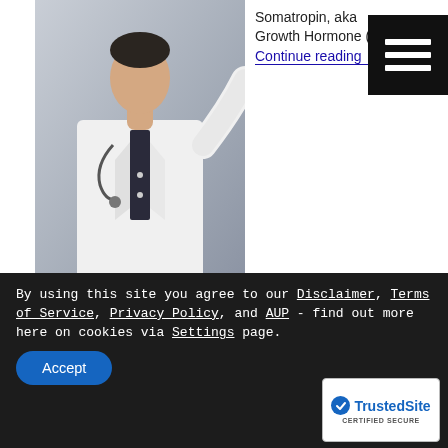[Figure (photo): Doctor in white lab coat standing against grey background]
Somatropin, aka Growth Hormone (GH). Continue reading →
Weekly Therapy for Adult Growth Hormone Deficiency Approved by FDA
Written by Professor Anna Gray, Updated on December 26th, 2021, Published on March 26th, 2021
By using this site you agree to our Disclaimer, Terms of Service, Privacy Policy, and AUP - find out more here on cookies via Settings page.